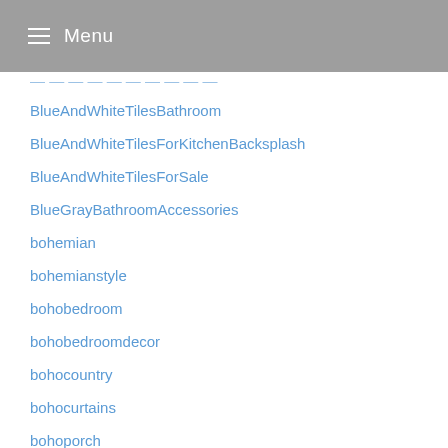Menu
BlueAndWhiteTilesBathroom
BlueAndWhiteTilesForKitchenBacksplash
BlueAndWhiteTilesForSale
BlueGrayBathroomAccessories
bohemian
bohemianstyle
bohobedroom
bohobedroomdecor
bohocountry
bohocurtains
bohoporch
bohostyle
Bold
boldvibranthome
BookBlitz
bookcase
BookCases